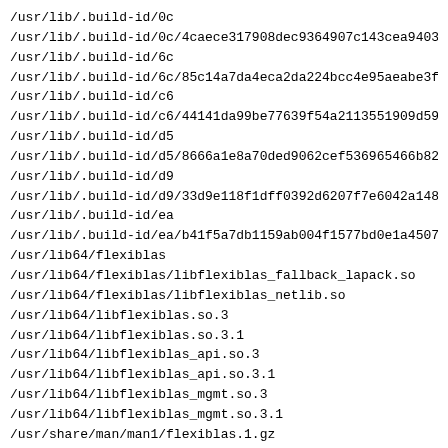/usr/lib/.build-id/0c
/usr/lib/.build-id/0c/4caece317908dec9364907c143cea940355
/usr/lib/.build-id/6c
/usr/lib/.build-id/6c/85c14a7da4eca2da224bcc4e95aeabe3f05
/usr/lib/.build-id/c6
/usr/lib/.build-id/c6/44141da99be77639f54a2113551909d5964
/usr/lib/.build-id/d5
/usr/lib/.build-id/d5/8666a1e8a70ded9062cef536965466b82da
/usr/lib/.build-id/d9
/usr/lib/.build-id/d9/33d9e118f1dff0392d6207f7e6042a1482
/usr/lib/.build-id/ea
/usr/lib/.build-id/ea/b41f5a7db1159ab004f1577bd0e1a4507d0
/usr/lib64/flexiblas
/usr/lib64/flexiblas/libflexiblas_fallback_lapack.so
/usr/lib64/flexiblas/libflexiblas_netlib.so
/usr/lib64/libflexiblas.so.3
/usr/lib64/libflexiblas.so.3.1
/usr/lib64/libflexiblas_api.so.3
/usr/lib64/libflexiblas_api.so.3.1
/usr/lib64/libflexiblas_mgmt.so.3
/usr/lib64/libflexiblas_mgmt.so.3.1
/usr/share/man/man1/flexiblas.1.gz
Generated by rpm2html 1.8.1
Fabrice Bellet, Tue Aug 9 23:17:47 2022